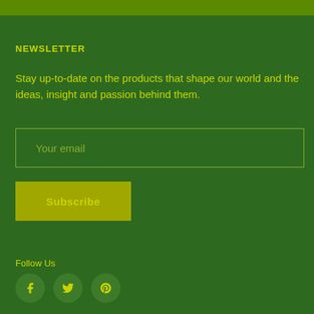NEWSLETTER
Stay up-to-date on the products that shape our world and the ideas, insight and passion behind them.
Your email
Subscribe
Follow Us
[Figure (illustration): Social media icons: Facebook, Twitter, Pinterest circles]